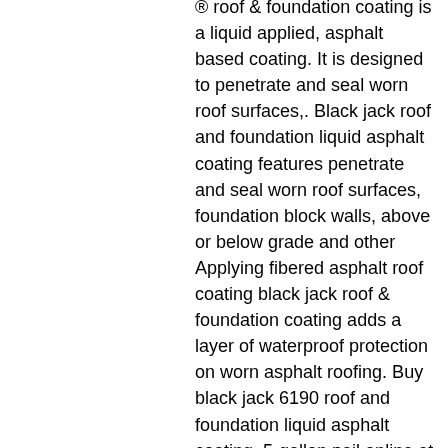® roof &amp; foundation coating is a liquid applied, asphalt based coating. It is designed to penetrate and seal worn roof surfaces,. Black jack roof and foundation liquid asphalt coating features penetrate and seal worn roof surfaces, foundation block walls, above or below grade and other Applying fibered asphalt roof coating black jack roof &amp; foundation coating adds a layer of waterproof protection on worn asphalt roofing. Buy black jack 6190 roof and foundation liquid asphalt coating, 5-gallon pail online at an affordable price. Ubuy is the leading international shopping. Black jack® roof &amp; foundation coating is a liquid applied, asphalt based coating. Rubberised asphalt roof &amp; foundation coating. Black jack elasto-kool 1500. Gardner sta-kool metal x. Shop for black jack shop our selection of roof coatings &amp; sealants in the section of roof repair &amp; maintenance